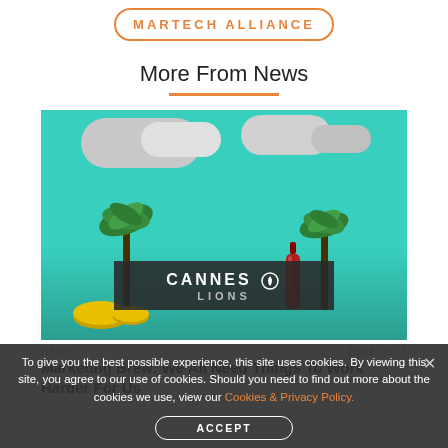[Figure (logo): Martech Alliance logo button with orange border and orange all-caps text]
More From News
[Figure (photo): Cannes Lions themed illustration: teal background, clouds, palm trees, a bottle, gold coins, dark banner with CANNES LIONS text]
NEWS · June 2022
Marketing Brew: We All Need Things To Work Harder For Us
To give you the best possible experience, this site uses cookies. By viewing this site, you agree to our use of cookies. Should you need to find out more about the cookies we use, view our Cookies & Privacy Policy.
ACCEPT